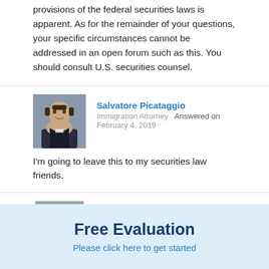provisions of the federal securities laws is apparent. As for the remainder of your questions, your specific circumstances cannot be addressed in an open forum such as this. You should consult U.S. securities counsel.
Salvatore Picataggio
Immigration Attorney · Answered on February 4, 2019
I'm going to leave this to my securities law friends.
Bernard P Wolfsdorf
Free Evaluation
Please click here to get started